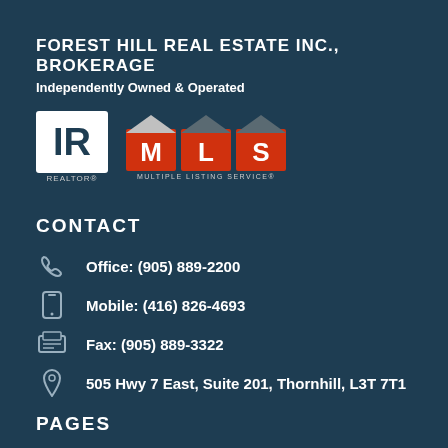FOREST HILL REAL ESTATE INC., BROKERAGE
Independently Owned & Operated
[Figure (logo): REALTOR and MLS Multiple Listing Service logos]
CONTACT
Office: (905) 889-2200
Mobile: (416) 826-4693
Fax: (905) 889-3322
505 Hwy 7 East, Suite 201, Thornhill, L3T 7T1
PAGES